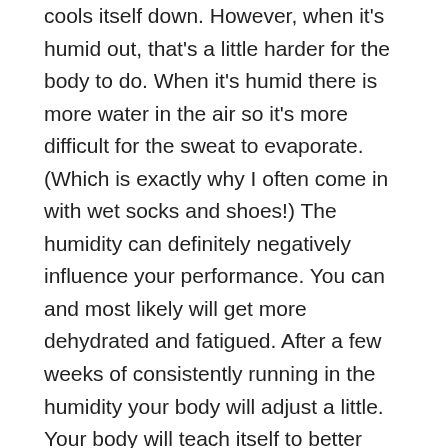cools itself down. However, when it's humid out, that's a little harder for the body to do. When it's humid there is more water in the air so it's more difficult for the sweat to evaporate. (Which is exactly why I often come in with wet socks and shoes!) The humidity can definitely negatively influence your performance. You can and most likely will get more dehydrated and fatigued. After a few weeks of consistently running in the humidity your body will adjust a little. Your body will teach itself to better control your core temperature. The good news is that if you can survive the hot and humid summer months, you may often find that your fall running times improve.
It's also very important to stay hydrated, even more so than normal. On a very humid, long run…..try weighing yourself before and after the run. For every pound you may lose, you should refuel with 16 ounces of water. You also need to hydrate before a run. If you are a consistent summer runner then you need to consistently drink water every day. During your runs you need to have planned